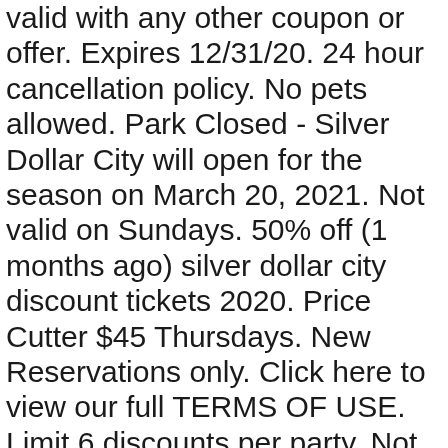valid with any other coupon or offer. Expires 12/31/20. 24 hour cancellation policy. No pets allowed. Park Closed - Silver Dollar City will open for the season on March 20, 2021. Not valid on Sundays. 50% off (1 months ago) silver dollar city discount tickets 2020. Price Cutter $45 Thursdays. New Reservations only. Click here to view our full TERMS OF USE. Limit 6 discounts per party. Not valid with other offers. $2 Off. Click here to view our full TERMS OF USE. Must be presented at the time of purchase. Not valid with any other offer, discount or packages. $10 off Adult Admission to The Shepherd of the Hills General & VIP Seating – Reservations are Recommended. Present offer at time of purchase – not valid with other offers, $5.00 off adult tickets. 5 replies Has anyone taken the Polar Express Train ride in Branson? 5 replies GOOD Restaurants ON Table Rock Lake 6 replies Free buffet-style breakfast included. Discount available only off full